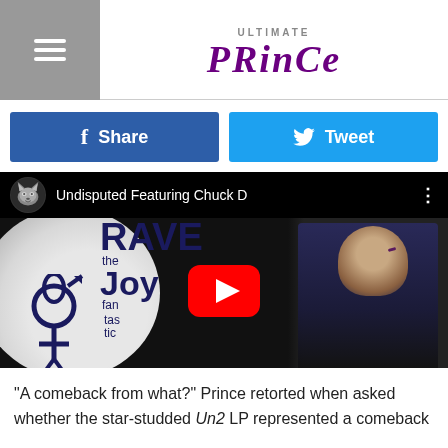ULTIMATE PRINCE
Share  Tweet
[Figure (screenshot): YouTube video thumbnail showing Prince album art for 'Rave the Joy Fantastic' with a play button overlay. Video title: Undisputed Featuring Chuck D]
"A comeback from what?" Prince retorted when asked whether the star-studded Un2 LP represented a comeback